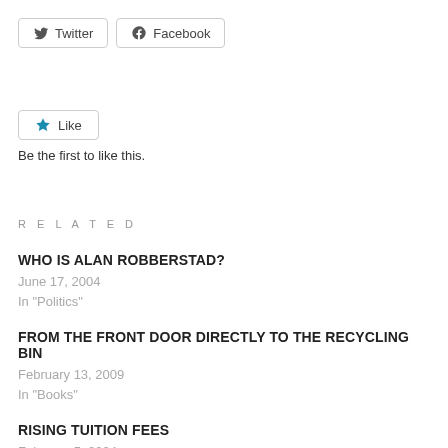[Figure (other): Social share buttons: Twitter and Facebook]
[Figure (other): Like button with blue star icon]
Be the first to like this.
RELATED
WHO IS ALAN ROBBERSTAD?
June 17, 2004
In "Politics"
FROM THE FRONT DOOR DIRECTLY TO THE RECYCLING BIN
February 13, 2009
In "Books"
RISING TUITION FEES
February 5, 2004
In "Politics"